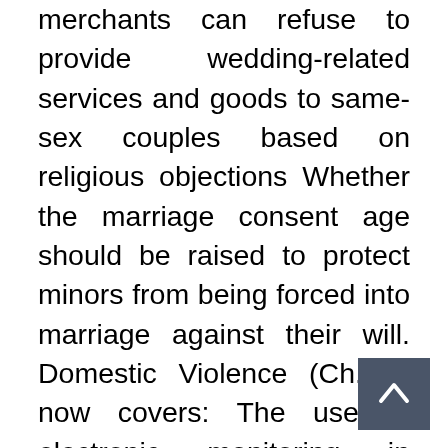merchants can refuse to provide wedding-related services and goods to same-sex couples based on religious objections Whether the marriage consent age should be raised to protect minors from being forced into marriage against their will. Domestic Violence (Ch. 3) now covers: The use of electronic monitoring in domestic violence cases The possibility of allowing minors who are being forced into marriage to obtain civil orders of protection. Employer-initiated restraining orders Children coverage expanded to include: In Chapter 5, new sections on the appointment of attorneys to represent children in contested custody disputes and considerations of parental disability in best interest determinations Chapter 11 new section on same-sex couples